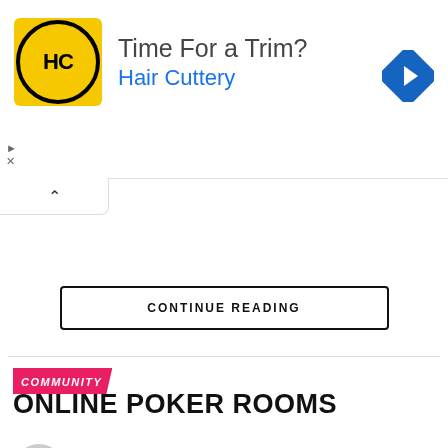[Figure (other): Hair Cuttery advertisement banner showing HC logo, 'Time For a Trim?' headline, 'Hair Cuttery' in blue, and a blue navigation arrow icon on the right]
CONTINUE READING
COMMUNITY
ONLINE POKER ROOMS
Published 1 day ago on August 26, 2022
By ferozali
[Figure (photo): Photo of poker chips and cards on a table, dark blue and green tones]